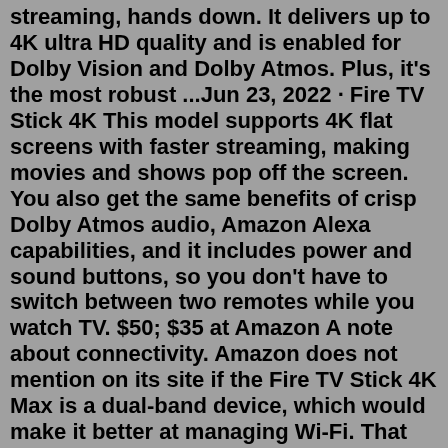streaming, hands down. It delivers up to 4K ultra HD quality and is enabled for Dolby Vision and Dolby Atmos. Plus, it's the most robust ...Jun 23, 2022 · Fire TV Stick 4K This model supports 4K flat screens with faster streaming, making movies and shows pop off the screen. You also get the same benefits of crisp Dolby Atmos audio, Amazon Alexa capabilities, and it includes power and sound buttons, so you don't have to switch between two remotes while you watch TV. $50; $35 at Amazon A note about connectivity. Amazon does not mention on its site if the Fire TV Stick 4K Max is a dual-band device, which would make it better at managing Wi-Fi. That said, since the other (cheaper ...Description With more power, a lightning-fast processor, support for 802.11 ac Wi-Fi, and a new antenna design, Fire TV Stick 4K allows you to enjoy a more complete 4K Ultra HD streaming experience. Launch and control all your favorite movies and TV shows with the next-gen Alexa Voice Remote.Jun 22, 2022 · The Fire TV Stick 4K Max supports Wi-Fi 6, 4K Ultra HD streaming, and Dolby